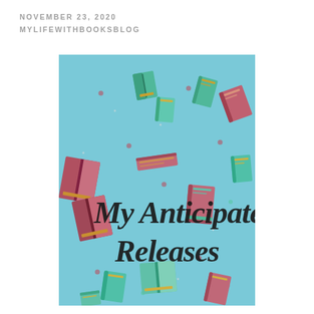NOVEMBER 23, 2020
MYLIFEWITHBOOKSBLOG
[Figure (illustration): Light blue background with scattered illustrated books in teal, dark red/maroon, and pink colors, floating at various angles. In the center-lower area, cursive script text reads 'My Anticipated Releases'. Small dots and circles are scattered throughout.]